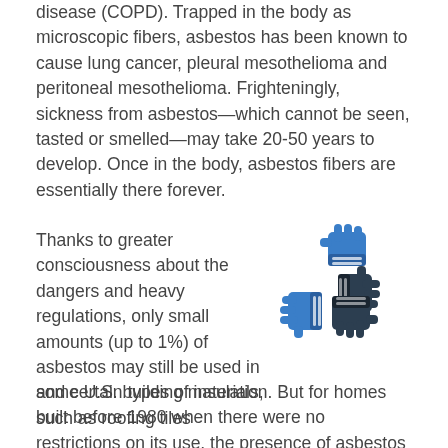disease (COPD). Trapped in the body as microscopic fibers, asbestos has been known to cause lung cancer, pleural mesothelioma and peritoneal mesothelioma. Frighteningly, sickness from asbestos—which cannot be seen, tasted or smelled—may take 20-50 years to develop. Once in the body, asbestos fibers are essentially there forever.
Thanks to greater consciousness about the dangers and heavy regulations, only small amounts (up to 1%) of asbestos may still be used in some U.S. building materials, such as roofing tiles and certain types of insulation. But for homes built before 1980 when there were no restrictions on its use, the presence of asbestos must be thoroughly
[Figure (illustration): Icon illustration of four hands in a team/unity gesture, alternating in blue and dark navy/charcoal colors, arranged in a square pattern with each hand grasping the wrist of the next.]